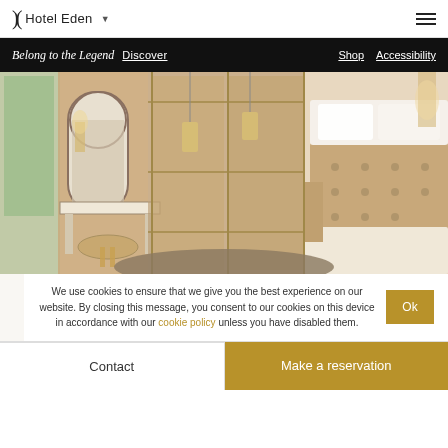Hotel Eden
Belong to the Legend  Discover    Shop  Accessibility
[Figure (photo): Luxury hotel bedroom with tufted headboard, white pillows, arched mirror, vanity desk with stool, and warm gold tones throughout]
We use cookies to ensure that we give you the best experience on our website. By closing this message, you consent to our cookies on this device in accordance with our cookie policy unless you have disabled them.
Contact    Make a reservation